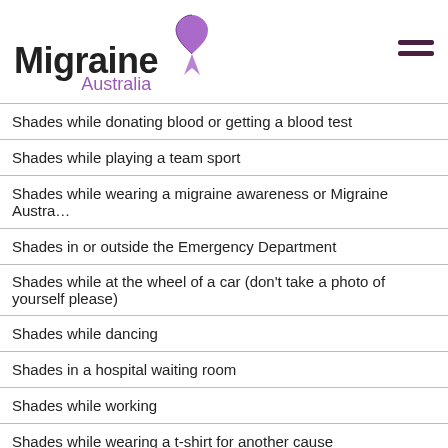Migraine Australia
Shades while donating blood or getting a blood test
Shades while playing a team sport
Shades while wearing a migraine awareness or Migraine Austra…
Shades in or outside the Emergency Department
Shades while at the wheel of a car (don't take a photo of yourself please)
Shades while dancing
Shades in a hospital waiting room
Shades while working
Shades while wearing a t-shirt for another cause
Shades while exercising
Shades while eating cake
Shades while standing on one leg